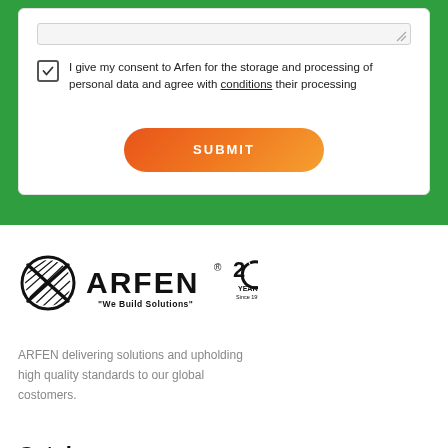I give my consent to Arfen for the storage and processing of personal data and agree with conditions their processing
[Figure (logo): ARFEN logo with tagline 'We Build Solutions' and 20 Years anniversary badge]
ARFEN delivering solutions and upholding high quality standards to our global costomers.
Catalog